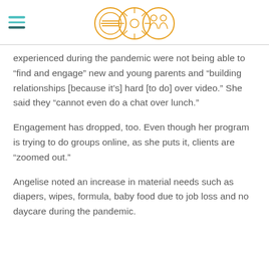[Logo: three circular icons in orange]
experienced during the pandemic were not being able to “find and engage” new and young parents and “building relationships [because it’s] hard [to do] over video.” She said they “cannot even do a chat over lunch.”
Engagement has dropped, too. Even though her program is trying to do groups online, as she puts it, clients are “zoomed out.”
Angelise noted an increase in material needs such as diapers, wipes, formula, baby food due to job loss and no daycare during the pandemic.